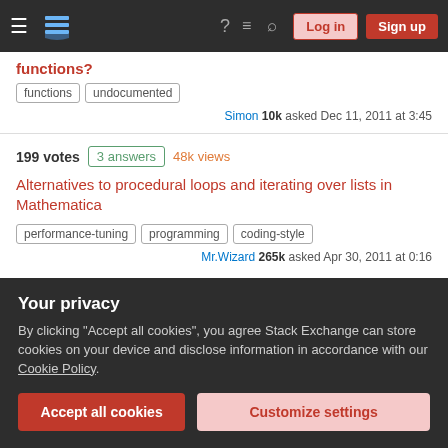Stack Exchange navigation bar with Log in and Sign up buttons
functions? | functions | undocumented | Simon 10k asked Dec 11, 2011 at 3:45
199 votes | 3 answers | 48k views
Alternatives to procedural loops and iterating over lists in Mathematica
performance-tuning | programming | coding-style
Mr.Wizard 265k asked Apr 30, 2011 at 0:16
194 votes | 9 answers | 70k views
Your privacy
By clicking "Accept all cookies", you agree Stack Exchange can store cookies on your device and disclose information in accordance with our Cookie Policy.
Accept all cookies | Customize settings
How to make use of Associations?